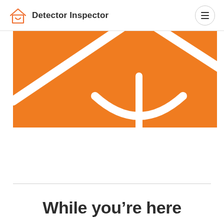[Figure (logo): Detector Inspector logo: orange house outline with a smiley face window, followed by bold text 'Detector Inspector']
[Figure (illustration): Large orange banner/hero image showing a zoomed-in white outline of a house with a smiley face (arched window) on an orange background, partially cropped]
While you’re here